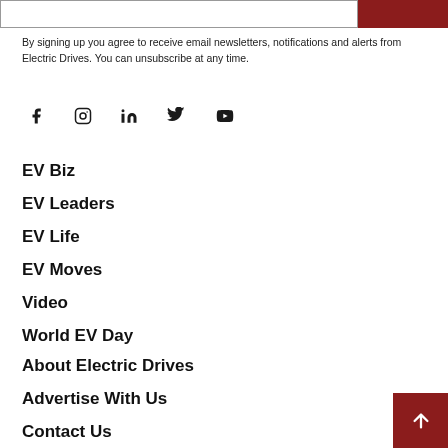By signing up you agree to receive email newsletters, notifications and alerts from Electric Drives. You can unsubscribe at any time.
[Figure (infographic): Social media icons row: Facebook, Instagram, LinkedIn, Twitter, YouTube]
EV Biz
EV Leaders
EV Life
EV Moves
Video
World EV Day
About Electric Drives
Advertise With Us
Contact Us